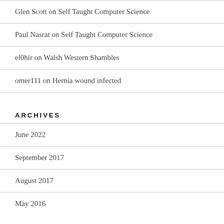Glen Scott on Self Taught Computer Science
Paul Nasrat on Self Taught Computer Science
el0hir on Walsh Western Shambles
omer111 on Hernia wound infected
ARCHIVES
June 2022
September 2017
August 2017
May 2016